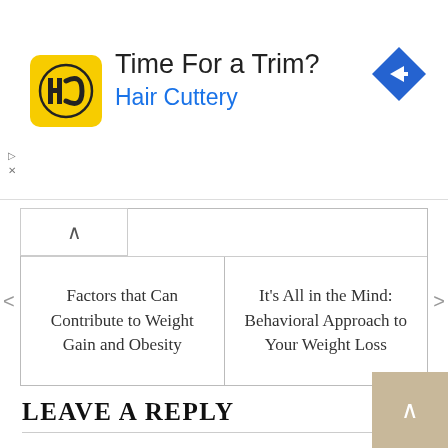[Figure (logo): Hair Cuttery advertisement banner with yellow HC logo icon, text 'Time For a Trim?' and 'Hair Cuttery' in blue, and a blue diamond-shaped arrow icon on the right]
Factors that Can Contribute to Weight Gain and Obesity
It's All in the Mind: Behavioral Approach to Your Weight Loss
LEAVE A REPLY
Your email address will not be published. Required fields are marked *